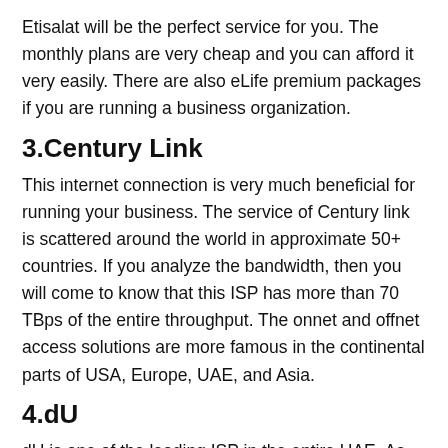Etisalat will be the perfect service for you. The monthly plans are very cheap and you can afford it very easily. There are also eLife premium packages if you are running a business organization.
3.Century Link
This internet connection is very much beneficial for running your business. The service of Century link is scattered around the world in approximate 50+ countries. If you analyze the bandwidth, then you will come to know that this ISP has more than 70 TBps of the entire throughput. The onnet and offnet access solutions are more famous in the continental parts of USA, Europe, UAE, and Asia.
4.dU
dU is one of the leading ISP in the entire UAE. As Dubai is one of the most crowded places in the entire nation, it has gained its popularity over there. If you hear such questions like what is the best internet provider in Dubai, the answer comes at once and